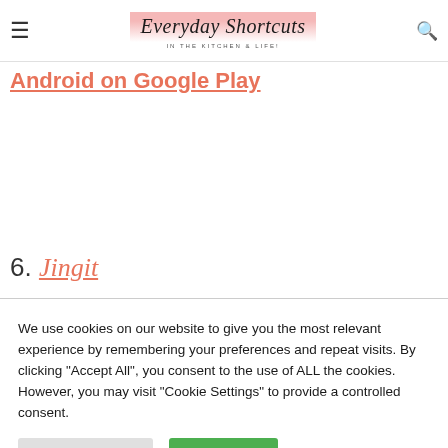Everyday Shortcuts IN THE KITCHEN & LIFE!
Android on Google Play
6. Jingit
We use cookies on our website to give you the most relevant experience by remembering your preferences and repeat visits. By clicking "Accept All", you consent to the use of ALL the cookies. However, you may visit "Cookie Settings" to provide a controlled consent.